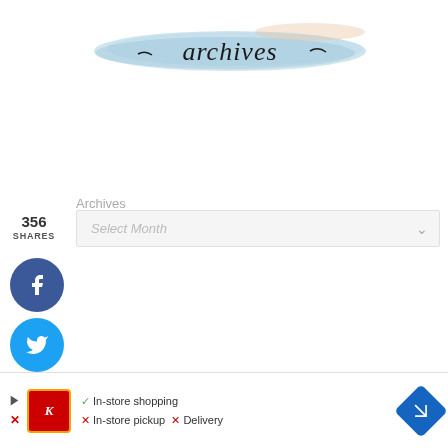[Figure (illustration): Watercolor brush stroke banner with cursive 'archives' text in black on a blue watercolor background]
Archives
356 SHARES
[Figure (illustration): Facebook social share button - blue circle with white F icon]
[Figure (illustration): Twitter social share button - cyan circle with white bird icon]
[Figure (illustration): Pinterest social share button - red circle with white P icon and count 356]
[Figure (illustration): Yummly social share button - orange circle with yum text and underline]
[Figure (screenshot): Dropdown selector showing 'Select Month' with arrow, for Archives navigation]
[Figure (infographic): Advertisement banner: Kroger app ad showing In-store shopping checkmark, In-store pickup X, Delivery X, with navigation arrow icon]